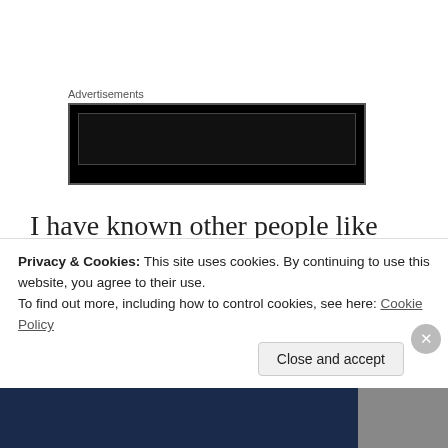Advertisements
[Figure (other): Black advertisement block with dark inner rectangle]
I have known other people like myself–other people who, at some point in their lives, desperately wanted to be part of an ethnic group they weren't born in to, leading to what an outside observer would call, “talking all the damn time about it.” I suspect Dolezal
Privacy & Cookies: This site uses cookies. By continuing to use this website, you agree to their use.
To find out more, including how to control cookies, see here: Cookie Policy
Close and accept
[Figure (photo): Bottom strip with dark blue background and a photo on the right side]